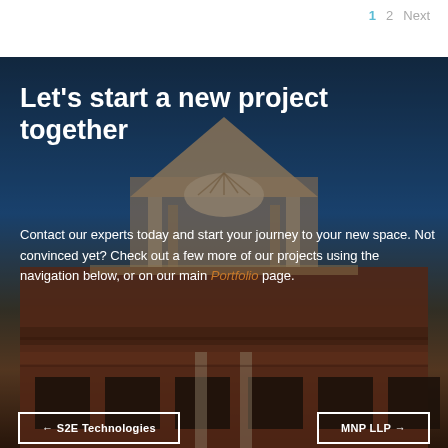1   2   Next
[Figure (photo): Exterior photo of a historic red brick building with decorative pediment, classical architectural details, blue sky background. Overlaid with bold white text and navigation buttons.]
Let's start a new project together
Contact our experts today and start your journey to your new space. Not convinced yet? Check out a few more of our projects using the navigation below, or on our main Portfolio page.
← S2E Technologies
MNP LLP →